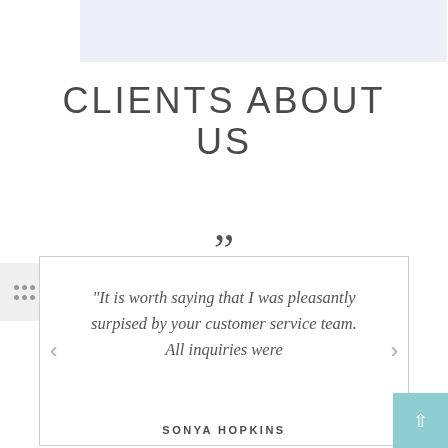[Figure (other): Light blue-gray rectangular banner at the top of the page]
CLIENTS ABOUT US
"It is worth saying that I was pleasantly surpised by your customer service team. All inquiries were
SONYA HOPKINS